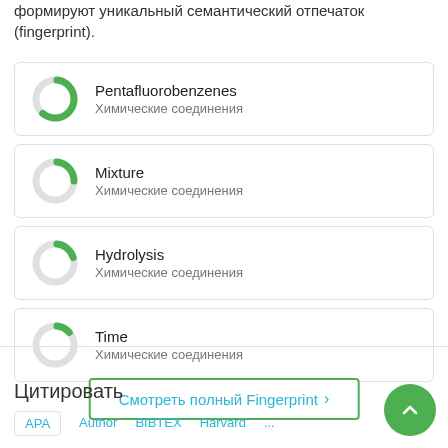формируют уникальный семантический отпечаток (fingerprint).
Pentafluorobenzenes – Химические соединения
Mixture – Химические соединения
Hydrolysis – Химические соединения
Time – Химические соединения
Смотреть полный Fingerprint ›
Цитировать
APA  Author  BIBTEX  Harvard  ...